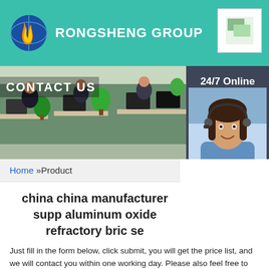[Figure (logo): Rongsheng Group logo with flame and globe icon]
RONGSHENG GROUP
[Figure (photo): Contact us banner with office photo showing workers at desks with plants, and 24/7 Online chat agent panel on the right]
Home »Product
china china manufacturer supplier aluminum oxide refractory bricks se
Just fill in the form below, click submit, you will get the price list, and we will contact you within one working day. Please also feel free to contact us via email or phone. (* is required).
Name